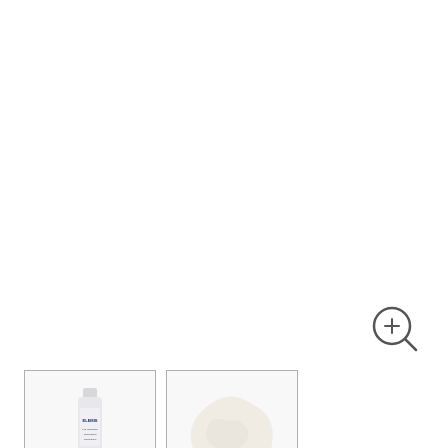[Figure (other): Zoom/magnify icon (circle with + magnifying glass symbol) in top right area]
[Figure (photo): Two product thumbnails side by side: left shows Elemis tube product standing upright on white background with border; right shows a cream/balm swatch swipe on white background with border]
ELEMIS
Elemis Pro-Radiance Illuminating Flash Balm 50ml